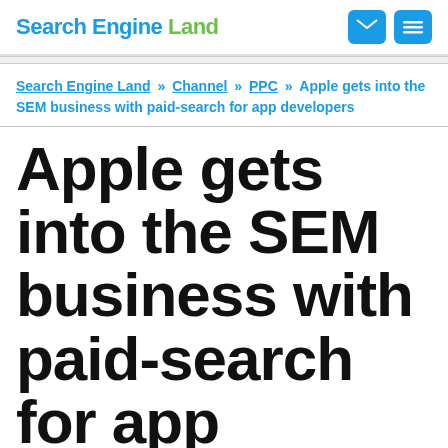Search Engine Land
Search Engine Land » Channel » PPC » Apple gets into the SEM business with paid-search for app developers
Apple gets into the SEM business with paid-search for app developers
The possibility of an AdWords-like paid